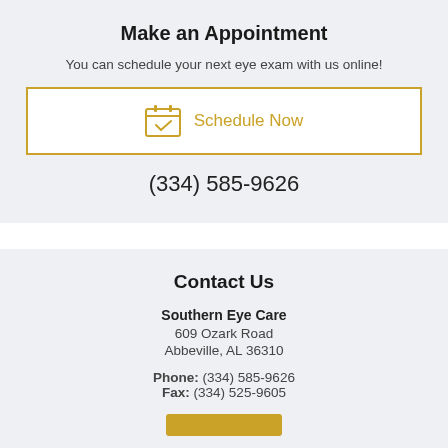Make an Appointment
You can schedule your next eye exam with us online!
[Figure (other): Schedule Now button with calendar icon and gold border]
(334) 585-9626
Contact Us
Southern Eye Care
609 Ozark Road
Abbeville, AL 36310
Phone: (334) 585-9626
Fax: (334) 525-9605